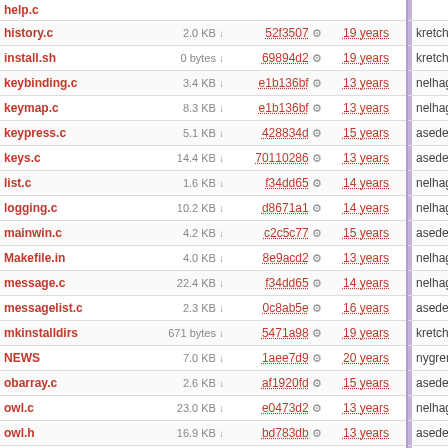| Name | Size | Hash | Age |  | Author | Message |
| --- | --- | --- | --- | --- | --- | --- |
| history.c | 2.0 KB | 52f3507 | 19 years |  | kretch | Changed |
| install.sh | 0 bytes | 69894d2 | 19 years |  | kretch | Remove s |
| keybinding.c | 3.4 KB | e1b136bf | 13 years |  | nelhage | Fix handli |
| keymap.c | 8.3 KB | e1b136bf | 13 years |  | nelhage | Fix handli |
| keypress.c | 5.1 KB | 428834d | 15 years |  | asedeno | take two f |
| keys.c | 14.4 KB | 70110286 | 13 years |  | asedeno | Impleme |
| list.c | 1.6 KB | f34dd65 | 14 years |  | nelhage | Kill a who |
| logging.c | 10.2 KB | d8671a1 | 14 years |  | nelhage | logging.c |
| mainwin.c | 4.2 KB | c2c5c77 | 15 years |  | asedeno | Adding 25 |
| Makefile.in | 4.0 KB | 8e9acd2 | 13 years |  | nelhage | Makefile.i |
| message.c | 22.4 KB | f34dd65 | 14 years |  | nelhage | Kill a who |
| messagelist.c | 2.3 KB | 0c8ab5e | 16 years |  | asedeno | Binary se |
| mkinstalldirs | 671 bytes | 5471a98 | 19 years |  | kretch | Added mk |
| NEWS | 7.0 KB | 1aee7d9 | 20 years |  | nygren | * Added R |
| obarray.c | 2.6 KB | af1920fd | 15 years |  | asedeno | Portability |
| owl.c | 23.0 KB | e0473d2 | 13 years |  | nelhage | Disable k |
| owl.h | 16.9 KB | bd783db | 13 years |  | asedeno | Error on s |
| owl_perl.h | 1.4 KB | 120291c | 14 years |  | nelhage | Clone ow |
| pair.c | 373 bytes | de1c8a5 | 14 years |  | andersk | Speciali |